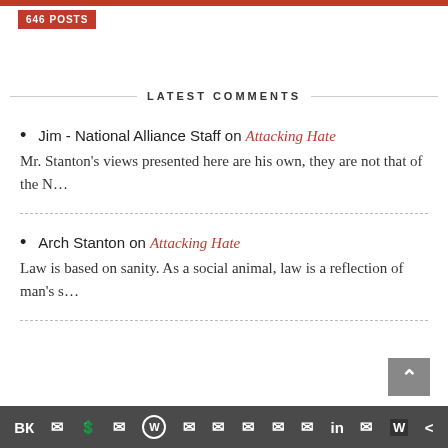646 POSTS
LATEST COMMENTS
Jim - National Alliance Staff on Attacking Hate
Mr. Stanton’s views presented here are his own, they are not that of the N…
Arch Stanton on Attacking Hate
Law is based on sanity. As a social animal, law is a reflection of man’s s…
Social sharing icons bar